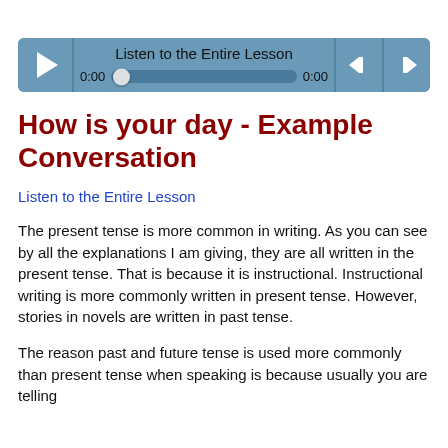[Figure (other): Audio player widget with play button, seek bar showing 0:00 on both sides, skip buttons, and title 'Listen to the Entire Lesson']
How is your day - Example Conversation
Listen to the Entire Lesson
The present tense is more common in writing. As you can see by all the explanations I am giving, they are all written in the present tense. That is because it is instructional. Instructional writing is more commonly written in present tense. However, stories in novels are written in past tense.
The reason past and future tense is used more commonly than present tense when speaking is because usually you are telling